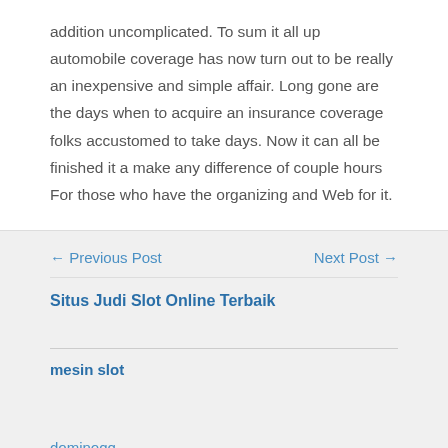addition uncomplicated. To sum it all up automobile coverage has now turn out to be really an inexpensive and simple affair. Long gone are the days when to acquire an insurance coverage folks accustomed to take days. Now it can all be finished it a make any difference of couple hours For those who have the organizing and Web for it.
← Previous Post
Next Post →
Situs Judi Slot Online Terbaik
mesin slot
dominoqq